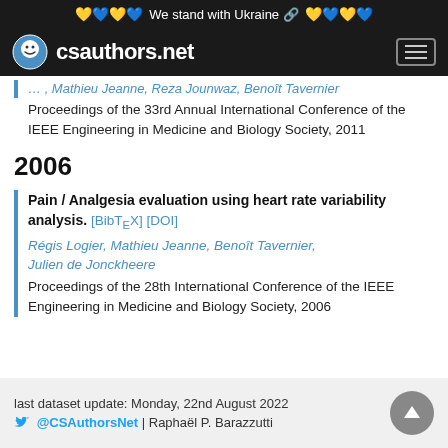We stand with Ukraine
[Figure (logo): csauthors.net logo with smiley face icon]
, Mathieu Jeanne, Reza Jounwaz, Benoît Tavernier
Proceedings of the 33rd Annual International Conference of the IEEE Engineering in Medicine and Biology Society, 2011
2006
Pain / Analgesia evaluation using heart rate variability analysis. [BibTeX] [DOI]
Régis Logier, Mathieu Jeanne, Benoît Tavernier, Julien de Jonckheere
Proceedings of the 28th International Conference of the IEEE Engineering in Medicine and Biology Society, 2006
last dataset update: Monday, 22nd August 2022 @CSAuthorsNet | Raphaël P. Barazzutti